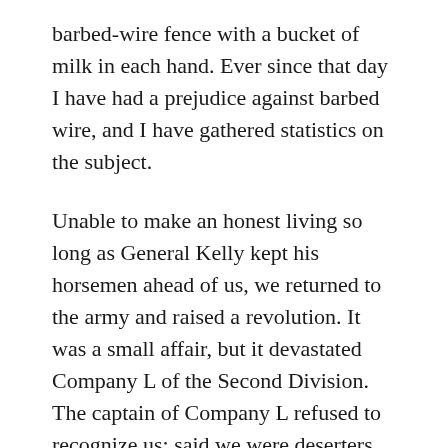barbed-wire fence with a bucket of milk in each hand. Ever since that day I have had a prejudice against barbed wire, and I have gathered statistics on the subject.
Unable to make an honest living so long as General Kelly kept his horsemen ahead of us, we returned to the army and raised a revolution. It was a small affair, but it devastated Company L of the Second Division. The captain of Company L refused to recognize us; said we were deserters, traitors, scalawags; and when he drew rations for Company L from the